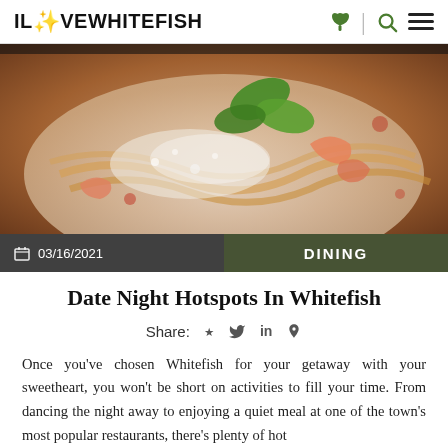ILOVEWHITEFISH
[Figure (photo): Close-up photo of a pasta dish with shrimp, tomato sauce, grated parmesan cheese, and fresh basil garnish on a white plate.]
03/16/2021
DINING
Date Night Hotspots In Whitefish
Share:
Once you've chosen Whitefish for your getaway with your sweetheart, you won't be short on activities to fill your time. From dancing the night away to enjoying a quiet meal at one of the town's most popular restaurants, there's plenty of hot